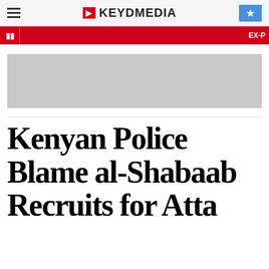KEYDMEDIA
[Figure (other): Advertisement placeholder banner (gray rectangle)]
Kenyan Police Blame al-Shabaab Recruits for Atta...